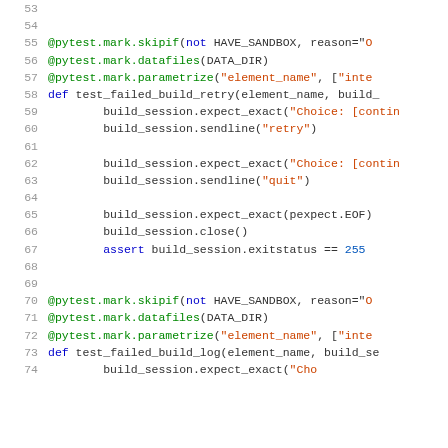[Figure (screenshot): Python source code screenshot showing lines 53-74 of a test file with syntax highlighting. Contains pytest decorators, function definitions, and build session assertions.]